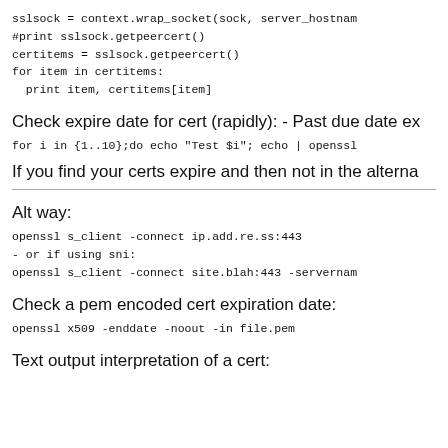sslsock = context.wrap_socket(sock, server_hostnam
#print sslsock.getpeercert()
certitems = sslsock.getpeercert()
for item in certitems:
  print item, certitems[item]
Check expire date for cert (rapidly): - Past due date ex
for i in {1..10};do echo "Test $i"; echo | openssl
If you find your certs expire and then not in the alterna
Alt way:
openssl s_client -connect ip.add.re.ss:443
- or if using sni:
openssl s_client -connect site.blah:443 -servernam
Check a pem encoded cert expiration date:
openssl x509 -enddate -noout -in file.pem
Text output interpretation of a cert: